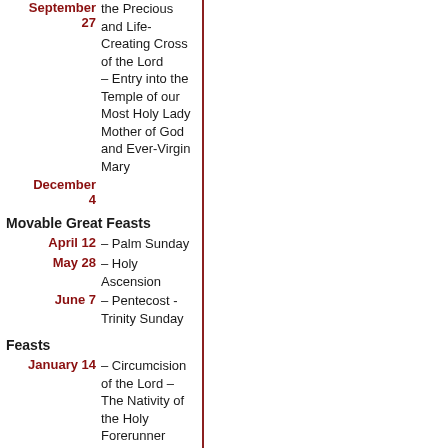| Date | Description |
| --- | --- |
| September 27 | the Precious and Life-Creating Cross of the Lord – Entry into the Temple of our Most Holy Lady Mother of God and Ever-Virgin Mary |
| December 4 |  |
|  | Movable Great Feasts |
| April 12 | – Palm Sunday |
| May 28 | – Holy Ascension |
| June 7 | – Pentecost - Trinity Sunday |
|  | Feasts |
| January 14 | – Circumcision of the Lord – The Nativity of the Holy Forerunner |
| July 7 |  |